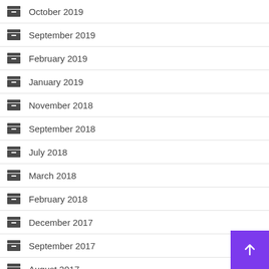October 2019
September 2019
February 2019
January 2019
November 2018
September 2018
July 2018
March 2018
February 2018
December 2017
September 2017
August 2017
June 2017